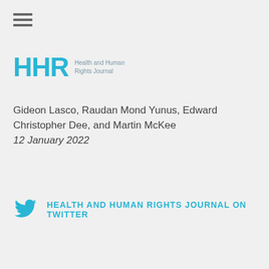[Figure (logo): HHR Health and Human Rights Journal logo with large teal HHR letters and smaller subtitle text]
Gideon Lasco, Raudan Mond Yunus, Edward Christopher Dee, and Martin McKee
12 January 2022
HEALTH AND HUMAN RIGHTS JOURNAL ON TWITTER